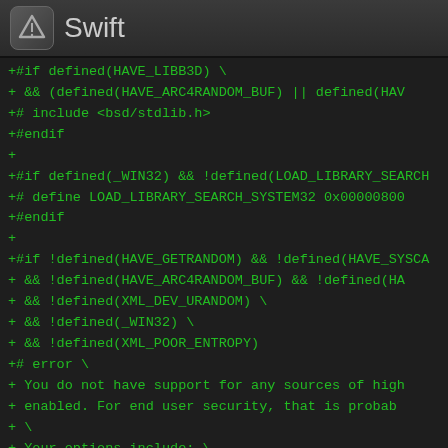Swift
+#if defined(HAVE_LIBB SD) \
+     && (defined(HAVE_ARC4RANDOM_BUF) || defined(HAV
+# include <bsd/stdlib.h>
+#endif
+
+#if defined(_WIN32) && !defined(LOAD_LIBRARY_SEARCH
+# define LOAD_LIBRARY_SEARCH_SYSTEM32  0x00000800
+#endif
+
+#if !defined(HAVE_GETRANDOM) && !defined(HAVE_SYSCA
+     && !defined(HAVE_ARC4RANDOM_BUF) && !defined(HA
+     && !defined(XML_DEV_URANDOM) \
+     && !defined(_WIN32) \
+     && !defined(XML_POOR_ENTROPY)
+# error  \
+     You do not have support for any sources of high
+     enabled.  For end user security, that is probab
+     \
+     Your options include: \
+       * Linux + glibc >=2.25 (getrandom): HAVE_GETR